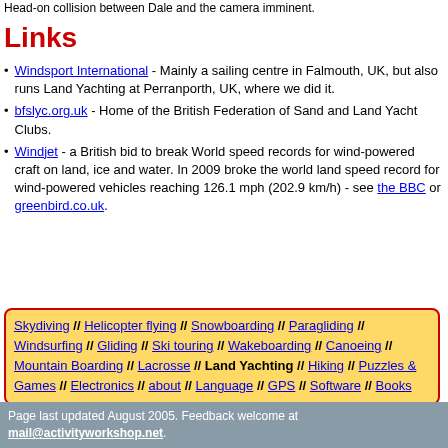Head-on collision between Dale and the camera imminent.
Links
Windsport International - Mainly a sailing centre in Falmouth, UK, but also runs Land Yachting at Perranporth, UK, where we did it.
bfslyc.org.uk - Home of the British Federation of Sand and Land Yacht Clubs.
Windjet - a British bid to break World speed records for wind-powered craft on land, ice and water. In 2009 broke the world land speed record for wind-powered vehicles reaching 126.1 mph (202.9 km/h) - see the BBC or greenbird.co.uk.
Skydiving // Helicopter flying // Snowboarding // Paragliding // Windsurfing // Gliding // Ski touring // Wakeboarding // Canoeing // Mountain Boarding // Lacrosse // Land Yachting // Hiking // Puzzles & Games // Electronics // about // Language // GPS // Software // Books
Page last updated August 2005. Feedback welcome at mail@activityworkshop.net.